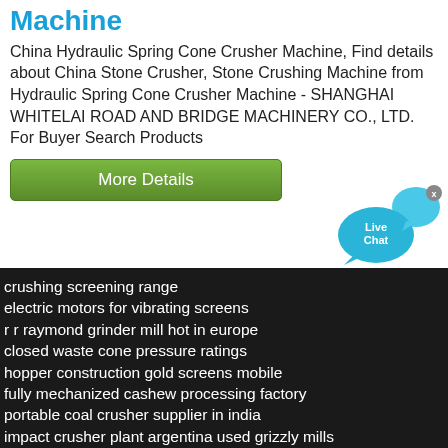Machine
China Hydraulic Spring Cone Crusher Machine, Find details about China Stone Crusher, Stone Crushing Machine from Hydraulic Spring Cone Crusher Machine - SHANGHAI WHITELAI ROAD AND BRIDGE MACHINERY CO., LTD. For Buyer Search Products
[Figure (other): Green 'More Details' button]
[Figure (other): Live Chat widget with blue speech bubble icons and 'Live Chat' text, with an X close button]
crushing screening range
electric motors for vibrating screens
r r raymond grinder mill hot in europe
closed waste cone pressure ratings
hopper construction  gold screens mobile
fully mechanized cashew processing factory
portable coal crusher supplier in india
impact crusher plant argentina  used grizzly mills